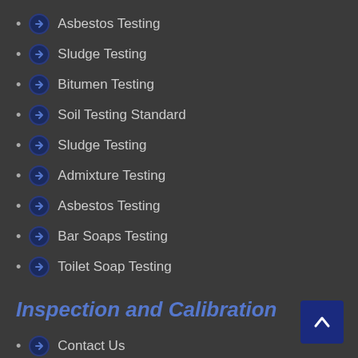Asbestos Testing
Sludge Testing
Bitumen Testing
Soil Testing Standard
Sludge Testing
Admixture Testing
Asbestos Testing
Bar Soaps Testing
Toilet Soap Testing
Inspection and Calibration
Contact Us
INSPECTION SERVICES
Bunker Survey
Onhire Bunker Survey + Condition